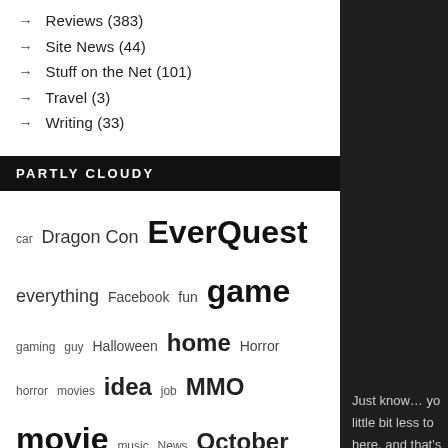→ Reviews (383)
→ Site News (44)
→ Stuff on the Net (101)
→ Travel (3)
→ Writing (33)
PARTLY CLOUDY
[Figure (infographic): Tag cloud with words sized by frequency: car, Dragon Con, EverQuest, everything, Facebook, fun, game, gaming, guy, Halloween, home, Horror, horror, movies, idea, job, MMO, movie, music, News, October, person, phone, plan, player, post, Round, scary movies, series, shocktober, show, site, song, sort, time, today, TV, Twitter, undead, Week, width, work, World of Warcraft, WoW, YouTube, zombie]
Just know… yo little bit less to here, and that's